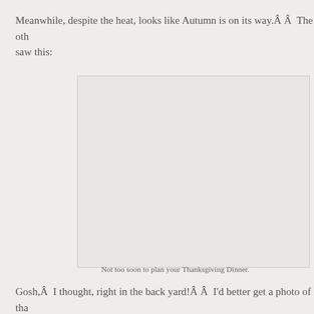Meanwhile, despite the heat, looks like Autumn is on its way.Â Â  The oth saw this:
[Figure (photo): A blank/placeholder image area representing a photo, with caption 'Not too soon to plan your Thanksgiving Dinner.']
Not too soon to plan your Thanksgiving Dinner.
Gosh,Â  I thought, right in the back yard!Â Â  I'd better get a photo of tha telling her.  I'll stay home like this oui le